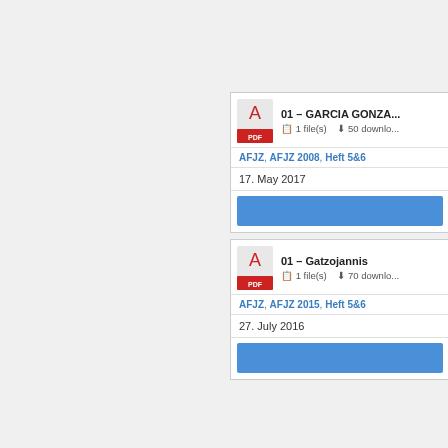AFJZ, AFJZ 2007, Heft 5&6 | 12. July 2017 | 1 file(s) | 50 downloads
01 – GARCIA GONZA... | AFJZ, AFJZ 2008, Heft 5&6 | 17. May 2017 | 1 file(s) | 50 downloads
01 – Gatzojannis | AFJZ, AFJZ 2015, Heft 5&6 | 27. July 2016 | 1 file(s) | 70 downloads